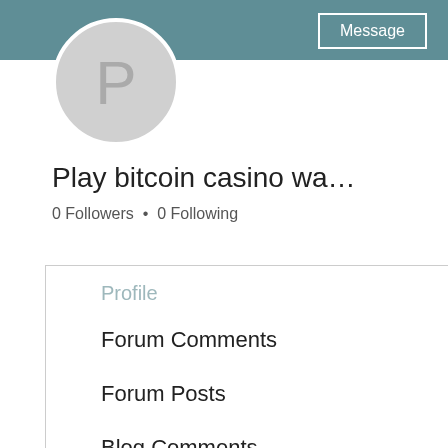[Figure (screenshot): User profile header with teal background, circular avatar with letter P, Message and Follow buttons]
Play bitcoin casino wa…
0 Followers • 0 Following
Profile
Forum Comments
Forum Posts
Blog Comments
Blog Likes
0 Like Received   0
Play bitcoin
Play bitcoin casino w
[Figure (screenshot): Blurred screenshot of a casino website with teal/dark background and green button]